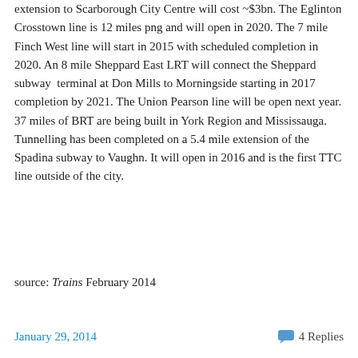extension to Scarborough City Centre will cost ~$3bn. The Eglinton Crosstown line is 12 miles png and will open in 2020. The 7 mile Finch West line will start in 2015 with scheduled completion in 2020. An 8 mile Sheppard East LRT will connect the Sheppard subway  terminal at Don Mills to Morningside starting in 2017 completion by 2021. The Union Pearson line will be open next year. 37 miles of BRT are being built in York Region and Mississauga. Tunnelling has been completed on a 5.4 mile extension of the Spadina subway to Vaughn. It will open in 2016 and is the first TTC line outside of the city.
source: Trains February 2014
January 29, 2014   4 Replies